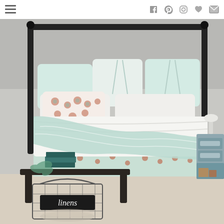Navigation header with menu icon and social media icons (Facebook, Pinterest, Instagram, heart/favorites, email)
[Figure (photo): A styled bedroom featuring a black wrought-iron bed frame with white and mint/sage green bedding, decorative pillows including a floral patterned pillow, a light mint gauze throw blanket draped over the bed. A patterned bed skirt with a medallion print in teal and coral. On the left side at the foot of the bed is a dark wooden bench/table with stacked books and a wire basket labeled 'linens'. On the right is a grey-blue painted wooden nightstand with drawers and an open shelf containing stacked items. The room has neutral beige carpet and grey walls.]